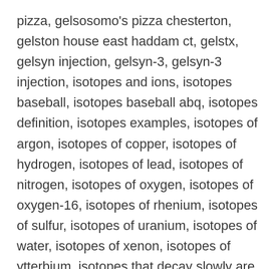pizza, gelsosomo's pizza chesterton, gelston house east haddam ct, gelstx, gelsyn injection, gelsyn-3, gelsyn-3 injection, isotopes and ions, isotopes baseball, isotopes baseball abq, isotopes definition, isotopes examples, isotopes of argon, isotopes of copper, isotopes of hydrogen, isotopes of lead, isotopes of nitrogen, isotopes of oxygen, isotopes of oxygen-16, isotopes of rhenium, isotopes of sulfur, isotopes of uranium, isotopes of water, isotopes of xenon, isotopes of ytterbium, isotopes that decay slowly are used to date, isotopes website, isotypes bio meaning, isotypes of antibodies, isotypes of antibodies and their function, isotypes of immunoglobulin